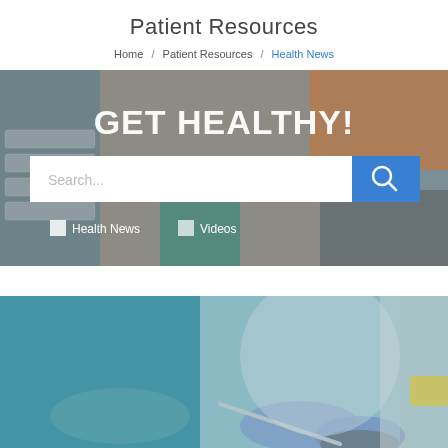Patient Resources
Home / Patient Resources / Health News
[Figure (screenshot): Hero banner with blurred background image of keyboard and desk items, large white text 'GET HEALTHY!', a search bar with blue button, and two checkbox tabs for 'Health News' and 'Videos']
[Figure (photo): Close-up photo of medical professionals in scrubs and blue gloves performing a medical procedure]